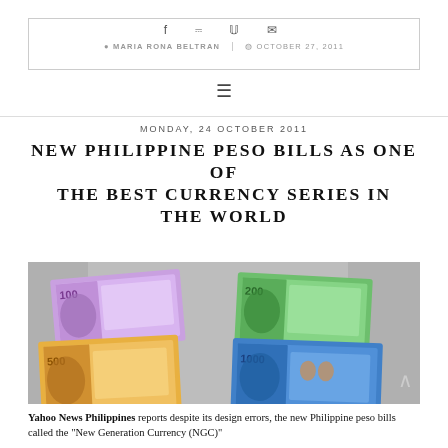MARIA RONA BELTRAN | OCTOBER 27, 2011
MONDAY, 24 OCTOBER 2011
NEW PHILIPPINE PESO BILLS AS ONE OF THE BEST CURRENCY SERIES IN THE WORLD
[Figure (photo): Photo of new Philippine peso bills (100, 200, 500, 1000 denominations) displayed in a showcase, showing the New Generation Currency design.]
Yahoo News Philippines reports despite its design errors, the new Philippine peso bills called the "New Generation Currency (NGC)"